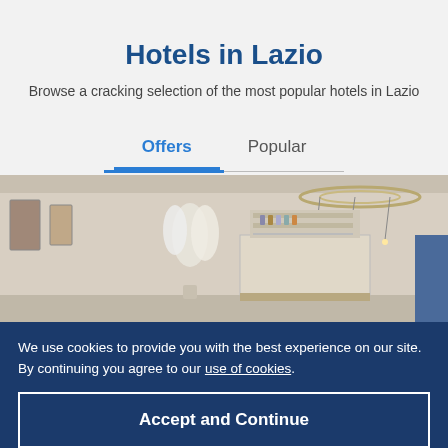Hotels in Lazio
Browse a cracking selection of the most popular hotels in Lazio
Offers   Popular
[Figure (photo): Interior photo of a hotel lobby with elegant lighting, a circular ceiling light fixture, white floral decorations, a bar area in the background, and a TV mounted on the wall.]
We use cookies to provide you with the best experience on our site. By continuing you agree to our use of cookies.
Accept and Continue